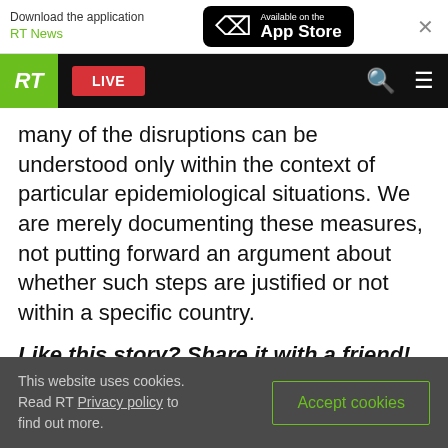Download the application RT News | Available on the App Store
[Figure (screenshot): RT website navigation bar with green RT logo, red LIVE button, search icon, and hamburger menu]
many of the disruptions can be understood only within the context of particular epidemiological situations. We are merely documenting these measures, not putting forward an argument about whether such steps are justified or not within a specific country.
Like this story? Share it with a friend!
You can share this story on social media:
This website uses cookies. Read RT Privacy policy to find out more.